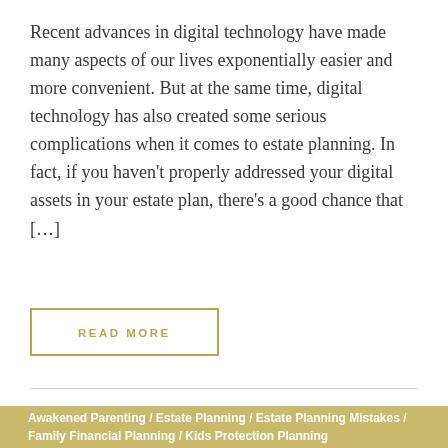Recent advances in digital technology have made many aspects of our lives exponentially easier and more convenient. But at the same time, digital technology has also created some serious complications when it comes to estate planning. In fact, if you haven't properly addressed your digital assets in your estate plan, there's a good chance that […]
READ MORE
Awakened Parenting / Estate Planning / Estate Planning Mistakes / Family Financial Planning / Kids Protection Planning
[Figure (photo): Colorful photo of children's items or crafts, partially visible at bottom of page]